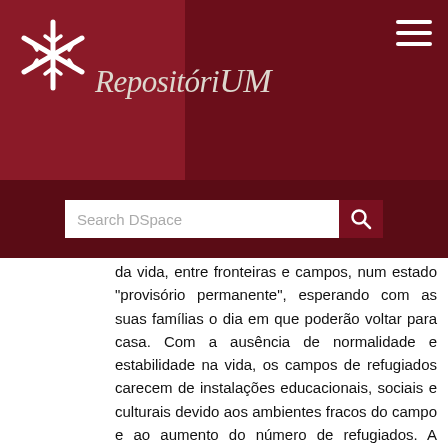[Figure (logo): RepositóriUM logo with asterisk/snowflake symbol on dark red background]
da vida, entre fronteiras e campos, num estado "provisório permanente", esperando com as suas famílias o dia em que poderão voltar para casa. Com a ausência de normalidade e estabilidade na vida, os campos de refugiados carecem de instalações educacionais, sociais e culturais devido aos ambientes fracos do campo e ao aumento do número de refugiados. A geração jovem de refugiados está prestes a ser uma geração perdida se a privação dos direitos à educação, saúde, proteção, desenvolvimento e apoio continuar. Para eles, a educação é uma ferramenta de esperança, desenvolvimento, estabilidade, proteção e paz. Nesse sentido, esta pesquisa gira em torno do problema da